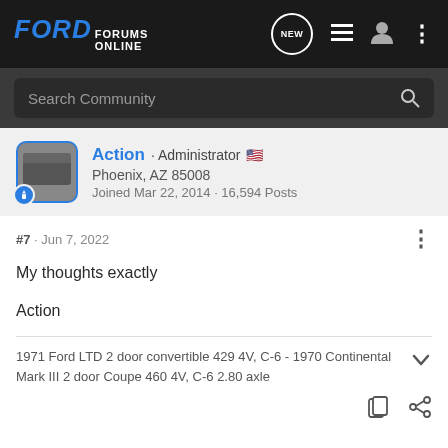FORD FORUMS ONLINE
Search Community
Action · Administrator
Phoenix, AZ 85008
Joined Mar 22, 2014 · 16,594 Posts
#7 · Jun 7, 2022
My thoughts exactly
Action
1971 Ford LTD 2 door convertible 429 4V, C-6 - 1970 Continental Mark III 2 door Coupe 460 4V, C-6 2.80 axle